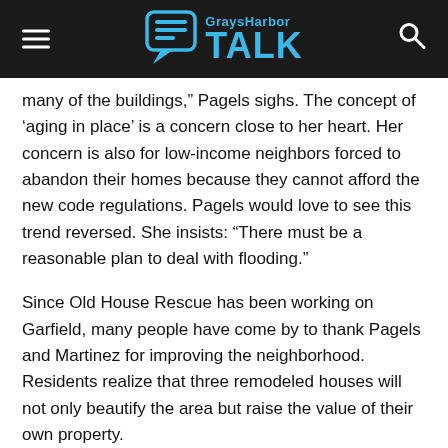GraysHarbor TALK
many of the buildings,” Pagels sighs. The concept of ‘aging in place’ is a concern close to her heart. Her concern is also for low-income neighbors forced to abandon their homes because they cannot afford the new code regulations. Pagels would love to see this trend reversed. She insists: “There must be a reasonable plan to deal with flooding.”
Since Old House Rescue has been working on Garfield, many people have come by to thank Pagels and Martinez for improving the neighborhood. Residents realize that three remodeled houses will not only beautify the area but raise the value of their own property.
Old House Rescue is a fully licensed, bonded and insured general contractor. Contact Carole Pagels at 360-339-2321